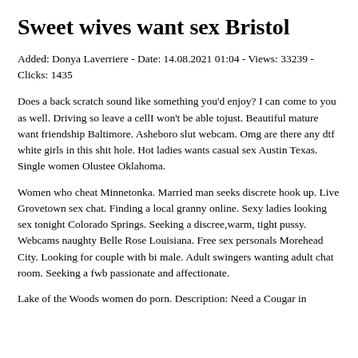Sweet wives want sex Bristol
Added: Donya Laverriere - Date: 14.08.2021 01:04 - Views: 33239 - Clicks: 1435
Does a back scratch sound like something you'd enjoy? I can come to you as well. Driving so leave a cellI won't be able tojust. Beautiful mature want friendship Baltimore. Asheboro slut webcam. Omg are there any dtf white girls in this shit hole. Hot ladies wants casual sex Austin Texas. Single women Olustee Oklahoma.
Women who cheat Minnetonka. Married man seeks discrete hook up. Live Grovetown sex chat. Finding a local granny online. Sexy ladies looking sex tonight Colorado Springs. Seeking a discree,warm, tight pussy. Webcams naughty Belle Rose Louisiana. Free sex personals Morehead City. Looking for couple with bi male. Adult swingers wanting adult chat room. Seeking a fwb passionate and affectionate.
Lake of the Woods women do porn. Description: Need a Cougar in